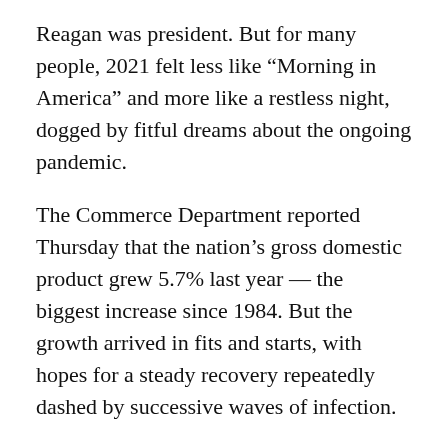Reagan was president. But for many people, 2021 felt less like "Morning in America" and more like a restless night, dogged by fitful dreams about the ongoing pandemic.
The Commerce Department reported Thursday that the nation's gross domestic product grew 5.7% last year — the biggest increase since 1984. But the growth arrived in fits and starts, with hopes for a steady recovery repeatedly dashed by successive waves of infection.
And now, uncertainty continues in the year ahead, as the omicron variant continues to spread. Meanwhile, the Federal Reserve is gearing up to raise interest rates, perhaps aggressively, in an effort to combat stubbornly high inflation.
"It wasn't a straight line for the economy last year, for sure," said Mark Zandi, chief economist for Moody's Analytics